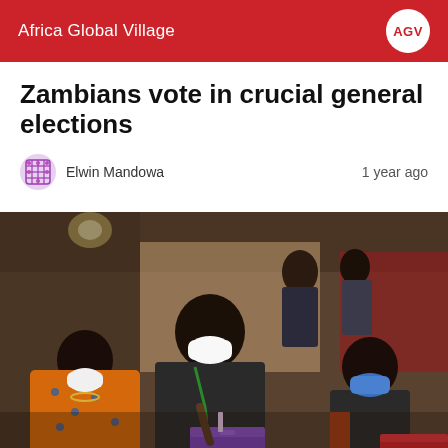Africa Global Village
Zambians vote in crucial general elections
Elwin Mandowa   1 year ago
[Figure (photo): People wearing face masks at a polling station in Zambia, with a man in a black leather jacket and green lanyard inserting a ballot into a purple ballot box, accompanied by a woman in an orange patterned dress and others in the background.]